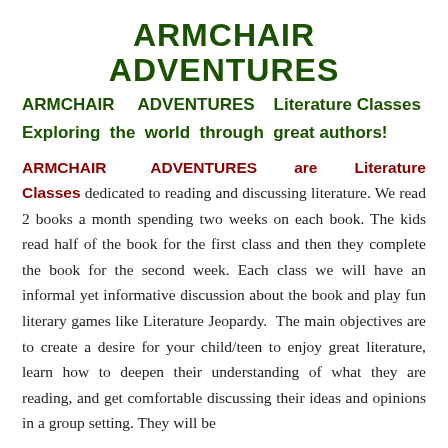ARMCHAIR ADVENTURES
ARMCHAIR ADVENTURES Literature Classes
Exploring the world through great authors!
ARMCHAIR ADVENTURES are Literature Classes dedicated to reading and discussing literature. We read 2 books a month spending two weeks on each book. The kids read half of the book for the first class and then they complete the book for the second week. Each class we will have an informal yet informative discussion about the book and play fun literary games like Literature Jeopardy. The main objectives are to create a desire for your child/teen to enjoy great literature, learn how to deepen their understanding of what they are reading, and get comfortable discussing their ideas and opinions in a group setting. They will be